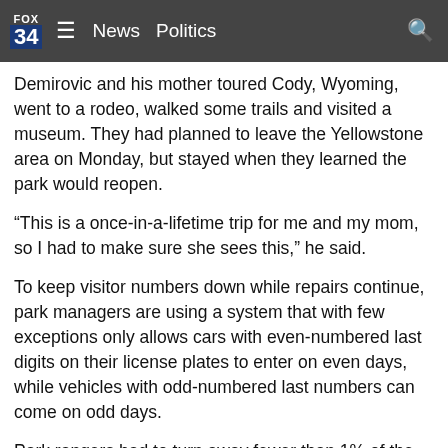FOX 34  News  Politics
Demirovic and his mother toured Cody, Wyoming, went to a rodeo, walked some trails and visited a museum. They had planned to leave the Yellowstone area on Monday, but stayed when they learned the park would reopen.
“This is a once-in-a-lifetime trip for me and my mom, so I had to make sure she sees this,” he said.
To keep visitor numbers down while repairs continue, park managers are using a system that with few exceptions only allows cars with even-numbered last digits on their license plates to enter on even days, while vehicles with odd-numbered last numbers can come on odd days.
Park rangers had to turn away fewer than 1% of the people lined up due to license plate issues, and they were turning them away before they got in long lines to enter the park, Sholly said.